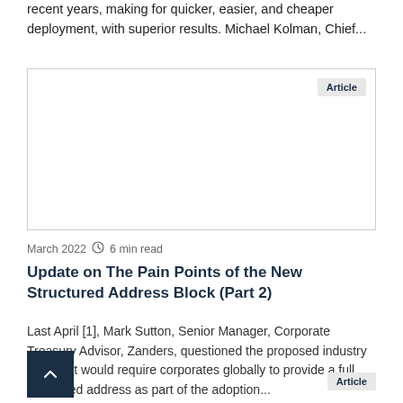recent years, making for quicker, easier, and cheaper deployment, with superior results. Michael Kolman, Chief...
[Figure (other): Article card placeholder with Article badge in top right corner]
March 2022  6 min read
Update on The Pain Points of the New Structured Address Block (Part 2)
Last April [1], Mark Sutton, Senior Manager, Corporate Treasury Advisor, Zanders, questioned the proposed industry logic that would require corporates globally to provide a full structured address as part of the adoption...